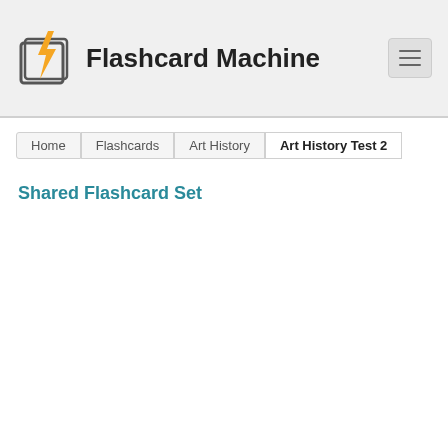Flashcard Machine
Home  Flashcards  Art History  Art History Test 2
Shared Flashcard Set